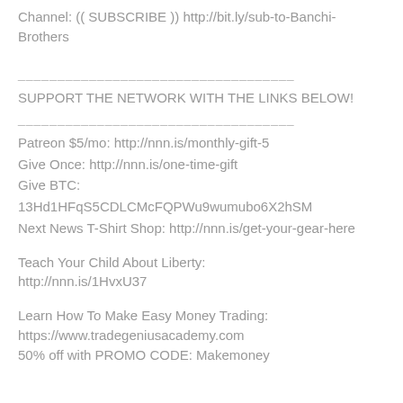Channel: (( SUBSCRIBE )) http://bit.ly/sub-to-Banchi-Brothers
___________________________________
SUPPORT THE NETWORK WITH THE LINKS BELOW!
___________________________________
Patreon $5/mo: http://nnn.is/monthly-gift-5
Give Once: http://nnn.is/one-time-gift
Give BTC:
13Hd1HFqS5CDLCMcFQPWu9wumubo6X2hSM
Next News T-Shirt Shop: http://nnn.is/get-your-gear-here
Teach Your Child About Liberty:
http://nnn.is/1HvxU37
Learn How To Make Easy Money Trading:
https://www.tradegeniusacademy.com
50% off with PROMO CODE: Makemoney